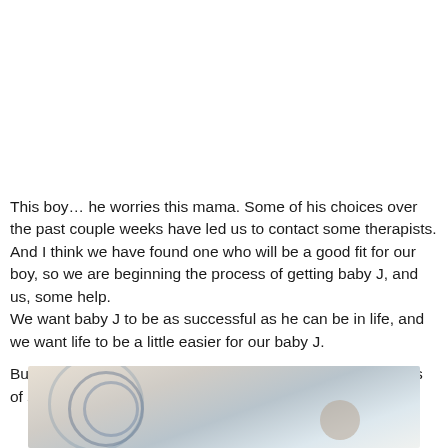This boy… he worries this mama. Some of his choices over the past couple weeks have led us to contact some therapists. And I think we have found one who will be a good fit for our boy, so we are beginning the process of getting baby J, and us, some help.
We want baby J to be as successful as he can be in life, and we want life to be a little easier for our baby J.

But for now, I am looking forward to having these first weeks of school behind us!
[Figure (photo): Partial photo at bottom of page showing a blurred/soft image with circular shapes, light blue and beige tones, appears to be a child-related image]